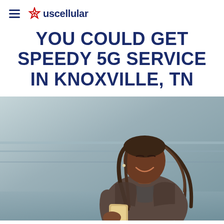uscellular
YOU COULD GET SPEEDY 5G SERVICE IN KNOXVILLE, TN
[Figure (photo): A smiling Black woman with long braided hair, wearing a brown jacket, looking down at a smartphone she is holding. Blurred outdoor background.]